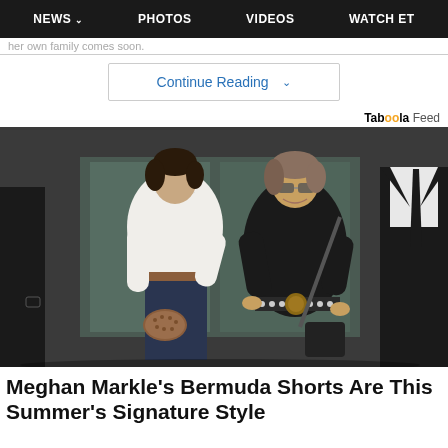NEWS  PHOTOS  VIDEOS  WATCH ET
her own family comes soon.
Continue Reading
Taboola Feed
[Figure (photo): Two women walking together outdoors. One woman is wearing a white button-down shirt with navy trousers and carrying a brown beaded bag. The other woman is older, wearing a black long-sleeve top with a black studded belt with large circular buckle and carrying a black shoulder bag. A man in a black suit and tie is partially visible on the right.]
Meghan Markle's Bermuda Shorts Are This Summer's Signature Style